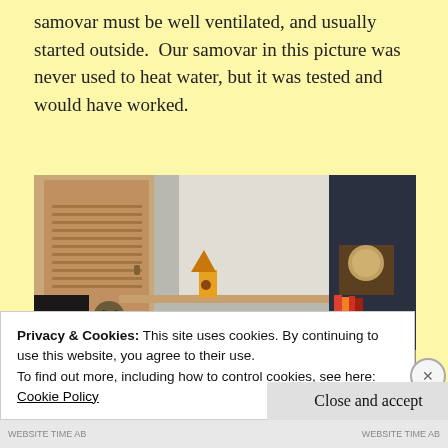samovar must be well ventilated, and usually started outside. Our samovar in this picture was never used to heat water, but it was tested and would have worked.
[Figure (photo): Indoor room photo showing a cat on a shelf, a figurine with a conical hat, a wooden door, books, a clock, and appliances in the background.]
Privacy & Cookies: This site uses cookies. By continuing to use this website, you agree to their use.
To find out more, including how to control cookies, see here: Cookie Policy